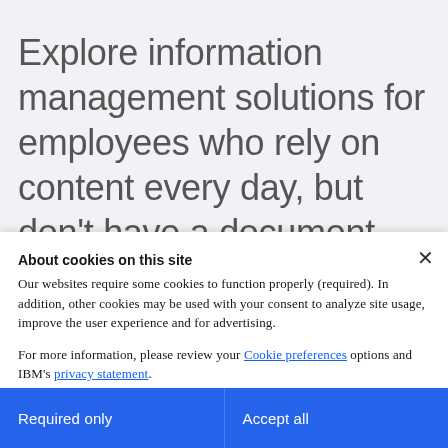Explore information management solutions for employees who rely on content every day, but don't have a document management system that can help them access the information they need.
About cookies on this site
Our websites require some cookies to function properly (required). In addition, other cookies may be used with your consent to analyze site usage, improve the user experience and for advertising.

For more information, please review your Cookie preferences options and IBM's privacy statement.
Required only
Accept all